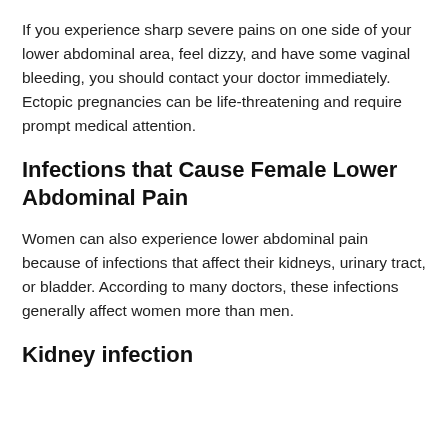If you experience sharp severe pains on one side of your lower abdominal area, feel dizzy, and have some vaginal bleeding, you should contact your doctor immediately. Ectopic pregnancies can be life-threatening and require prompt medical attention.
Infections that Cause Female Lower Abdominal Pain
Women can also experience lower abdominal pain because of infections that affect their kidneys, urinary tract, or bladder. According to many doctors, these infections generally affect women more than men.
Kidney infection